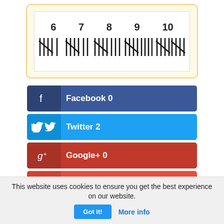[Figure (illustration): Tally marks illustration showing counts 6 through 10 with crossed tally mark groups]
Facebook 0
Twitter 2
Google+ 0
Reddit 0
This website uses cookies to ensure you get the best experience on our website. Got it! More info